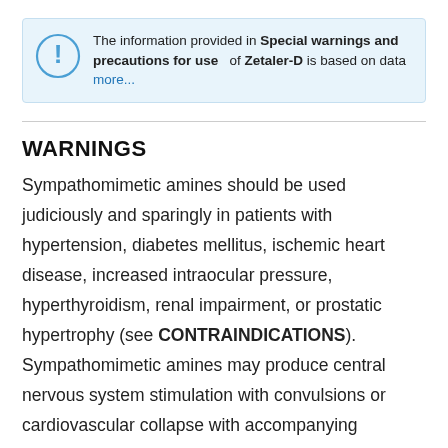The information provided in Special warnings and precautions for use of Zetaler-D is based on data more...
WARNINGS
Sympathomimetic amines should be used judiciously and sparingly in patients with hypertension, diabetes mellitus, ischemic heart disease, increased intraocular pressure, hyperthyroidism, renal impairment, or prostatic hypertrophy (see CONTRAINDICATIONS). Sympathomimetic amines may produce central nervous system stimulation with convulsions or cardiovascular collapse with accompanying hypotension. The elderly are more likely to have